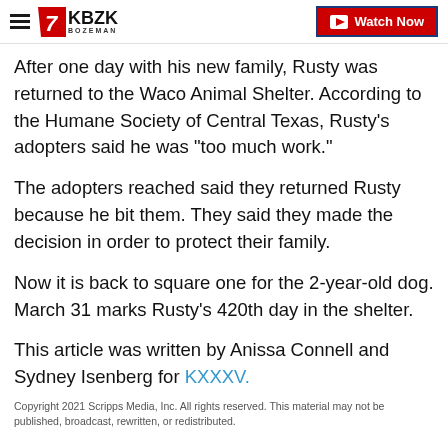KBZK BOZEMAN | Watch Now
After one day with his new family, Rusty was returned to the Waco Animal Shelter. According to the Humane Society of Central Texas, Rusty's adopters said he was "too much work."
The adopters reached said they returned Rusty because he bit them. They said they made the decision in order to protect their family.
Now it is back to square one for the 2-year-old dog. March 31 marks Rusty's 420th day in the shelter.
This article was written by Anissa Connell and Sydney Isenberg for KXXXV.
Copyright 2021 Scripps Media, Inc. All rights reserved. This material may not be published, broadcast, rewritten, or redistributed.